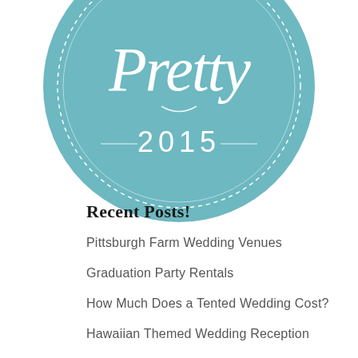[Figure (logo): Circular teal/blue-green badge logo with cursive text 'Pretty' and '2015' with decorative dotted border ring]
Recent Posts!
Pittsburgh Farm Wedding Venues
Graduation Party Rentals
How Much Does a Tented Wedding Cost?
Hawaiian Themed Wedding Reception
PartySavvy Testimonial – Mother of the Groom